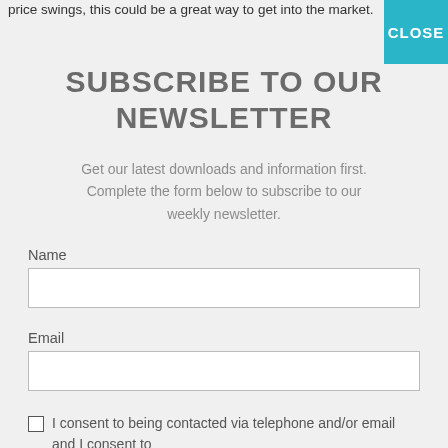price swings, this could be a great way to get into the market.
SUBSCRIBE TO OUR NEWSLETTER
Get our latest downloads and information first. Complete the form below to subscribe to our weekly newsletter.
Name
Email
I consent to being contacted via telephone and/or email and I consent to